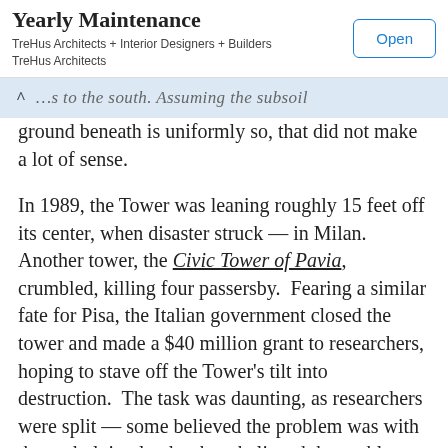Yearly Maintenance — TreHus Architects + Interior Designers + Builders TreHus Architects [Open button]
…as to the south. Assuming the subsoil ground beneath is uniformly so, that did not make a lot of sense.
In 1989, the Tower was leaning roughly 15 feet off its center, when disaster struck — in Milan. Another tower, the Civic Tower of Pavia, crumbled, killing four passersby. Fearing a similar fate for Pisa, the Italian government closed the tower and made a $40 million grant to researchers, hoping to stave off the Tower's tilt into destruction. The task was daunting, as researchers were split — some believed the problem was with the underlying land; others believed the problem was with the structure itself.